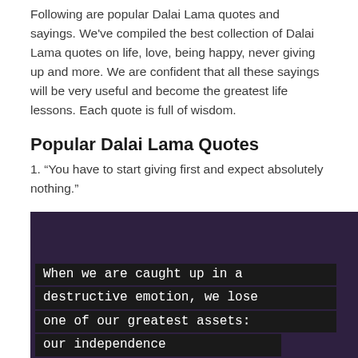Following are popular Dalai Lama quotes and sayings. We've compiled the best collection of Dalai Lama quotes on life, love, being happy, never giving up and more. We are confident that all these sayings will be very useful and become the greatest life lessons. Each quote is full of wisdom.
Popular Dalai Lama Quotes
1. “You have to start giving first and expect absolutely nothing.”
[Figure (illustration): Dark purple background image with white text in monospace/typewriter font on black banner strips reading: 'When we are caught up in a destructive emotion, we lose one of our greatest assets: our independence' (last line partially visible)]